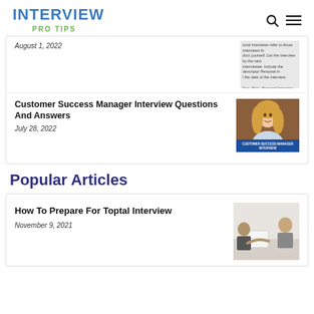INTERVIEW PRO TIPS
[Figure (screenshot): Partial article with text about personal interviews citation format. Date: August 1, 2022.]
Customer Success Manager Interview Questions And Answers
July 28, 2022
[Figure (photo): Woman smiling with blonde hair, with 'CUSTOMER SUCCESS MANAGER INTERVIEW' banner at bottom.]
Popular Articles
How To Prepare For Toptal Interview
November 9, 2021
[Figure (photo): Two people in an interview setting, partial view.]